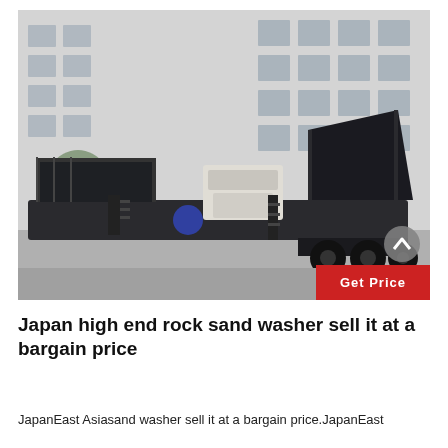[Figure (photo): A large industrial mobile sand washing machine mounted on a flatbed trailer, parked in front of a multi-story industrial building. The machine is dark grey/black, with metal framework, stairs, and a white main unit visible. Trees and the building facade are in the background.]
Japan high end rock sand washer sell it at a bargain price
JapanEast Asiasand washer sell it at a bargain price.JapanEast